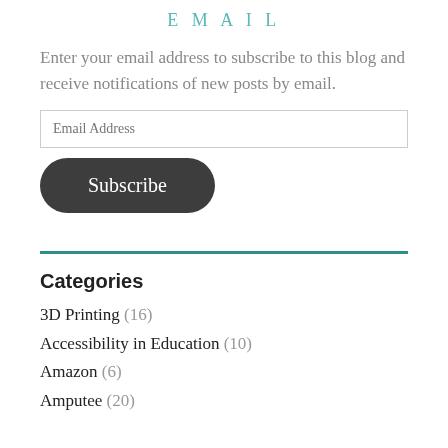EMAIL
Enter your email address to subscribe to this blog and receive notifications of new posts by email.
Email Address
Subscribe
Categories
3D Printing (16)
Accessibility in Education (10)
Amazon (6)
Amputee (20)